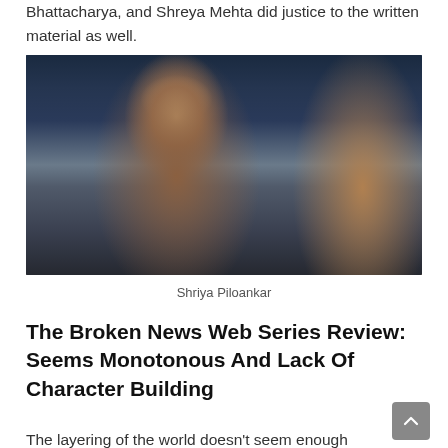Bhattacharya, and Shreya Mehta did justice to the written material as well.
[Figure (photo): A woman with long dark hair wearing a brown leather jacket, seated in a dimly lit indoor setting with blurred background lights. She appears to be in a serious or focused expression. Another person is partially visible on the right side.]
Shriya Piloankar
The Broken News Web Series Review: Seems Monotonous And Lack Of Character Building
The layering of the world doesn't seem enough